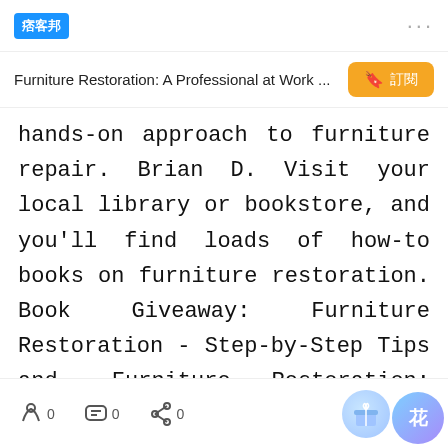痞客邦  ···
Furniture Restoration: A Professional at Work ...  🔖 訂閱
hands-on approach to furniture repair. Brian D. Visit your local library or bookstore, and you'll find loads of how-to books on furniture restoration. Book Giveaway: Furniture Restoration - Step-by-Step Tips and. Furniture Restoration: Step-By-Step Tips and Techniques for Professional Results [Ina Brosseau Marx, Allen Marx] on Amazon.com. No question. TLC Home "Furniture Restoration" But you don't have to be a pro to get the job
0  0  0